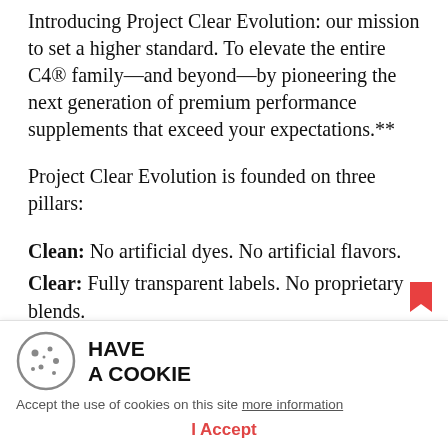Introducing Project Clear Evolution: our mission to set a higher standard. To elevate the entire C4® family—and beyond—by pioneering the next generation of premium performance supplements that exceed your expectations.**
Project Clear Evolution is founded on three pillars:
Clean: No artificial dyes. No artificial flavors.
Clear: Fully transparent labels. No proprietary blends.
Evolved: Innovative ingredients. Enhanced formulas.
They're running on Project Clear Evolution. We're running artificial colors and...
[Figure (other): Cookie consent popup overlay with cookie icon, 'HAVE A COOKIE' heading, acceptance text with 'more information' link, and 'I Accept' button]